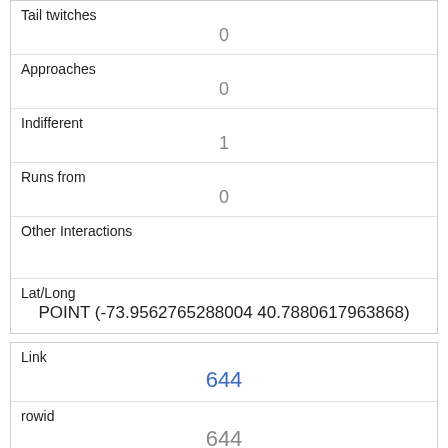| Tail twitches | 0 |
| Approaches | 0 |
| Indifferent | 1 |
| Runs from | 0 |
| Other Interactions |  |
| Lat/Long | POINT (-73.9562765288004 40.7880617963868) |
| Link | 644 |
| rowid | 644 |
| longitude | -73.97221256300399 |
| latitude |  |